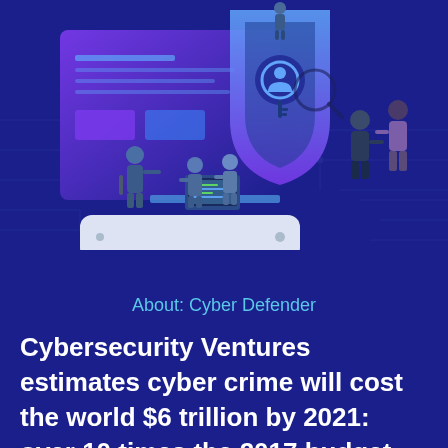[Figure (illustration): Isometric cybersecurity illustration showing people working around large digital devices (smartphone, laptop, shield with lock/key icon) on a dark blue circuit-board background with purple and blue gradient elements.]
About: Cyber Defender
Cybersecurity Ventures estimates cyber crime will cost the world $6 trillion by 2021: over 10 times the 2017 budget for the Department